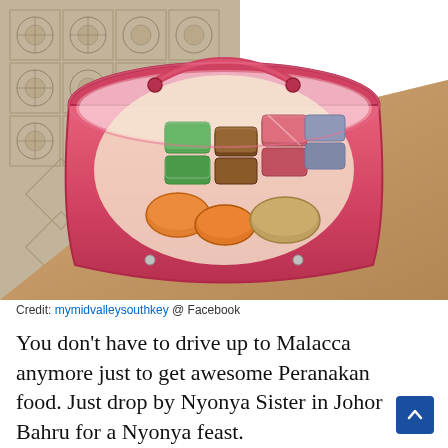[Figure (photo): A round pink basket/pail lined with clear plastic, filled with colorful Nyonya kueh (traditional Peranakan sweets) including green, brown, pink/red rectangular pieces and orange round pieces, placed on a wooden table with decorative Peranakan tiles visible in the background.]
Credit: mymidvalleysouthkey @ Facebook
You don't have to drive up to Malacca anymore just to get awesome Peranakan food. Just drop by Nyonya Sister in Johor Bahru for a Nyonya feast.